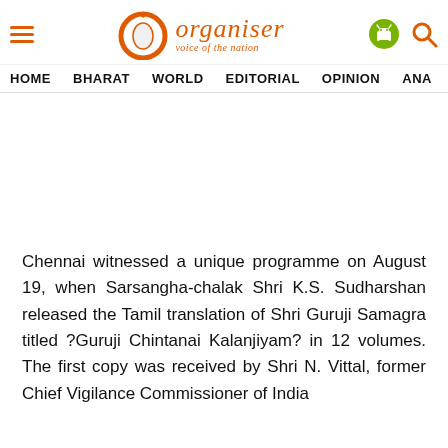Organiser — voice of the nation | HOME  BHARAT  WORLD  EDITORIAL  OPINION  ANA
Chennai witnessed a unique programme on August 19, when Sarsangha-chalak Shri K.S. Sudharshan released the Tamil translation of Shri Guruji Samagra titled ?Guruji Chintanai Kalanjiyam? in 12 volumes. The first copy was received by Shri N. Vittal, former Chief Vigilance Commissioner of India